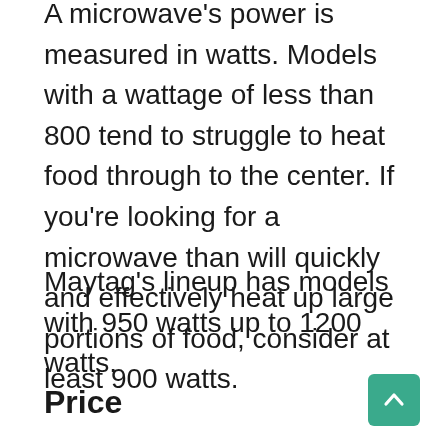A microwave's power is measured in watts. Models with a wattage of less than 800 tend to struggle to heat food through to the center. If you're looking for a microwave than will quickly and effectively heat up large portions of food, consider at least 900 watts.
Maytag's lineup has models with 950 watts up to 1200 watts.
Price